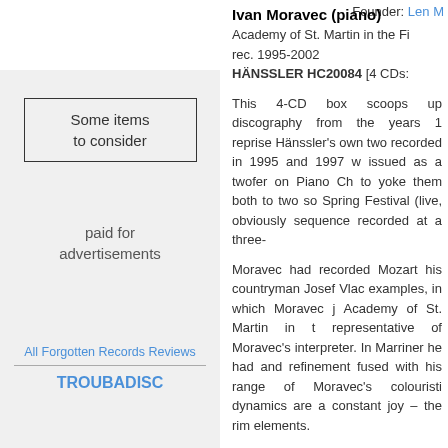Founder: Len M
[Figure (infographic): Left sidebar with grey background containing advertisement placeholder box ('Some items to consider'), 'paid for advertisements' text, 'All Forgotten Records Reviews' link, a horizontal divider, and 'TROUBADISC' in blue bold text.]
Ivan Moravec (piano)
Academy of St. Martin in the Fi rec. 1995-2002 HÄNSSLER HC20084 [4 CDs:
This 4-CD box scoops up discography from the years 1 reprise Hänssler's own two recorded in 1995 and 1997 w issued as a twofer on Piano Ch to yoke them both to two so Spring Festival (live, obviously sequence recorded at a three-
Moravec had recorded Mozart his countryman Josef Vlac examples, in which Moravec j Academy of St. Martin in t representative of Moravec's interpreter. In Marriner he had and refinement fused with his range of Moravec's colouristi dynamics are a constant joy – the rim elements.